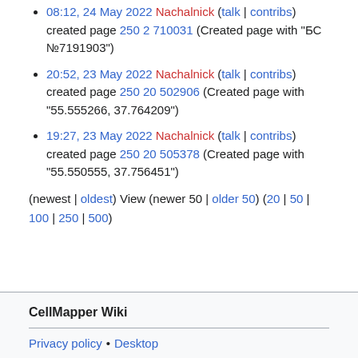08:12, 24 May 2022 Nachalnick (talk | contribs) created page 250 2 710031 (Created page with "БС №7191903")
20:52, 23 May 2022 Nachalnick (talk | contribs) created page 250 20 502906 (Created page with "55.555266, 37.764209")
19:27, 23 May 2022 Nachalnick (talk | contribs) created page 250 20 505378 (Created page with "55.550555, 37.756451")
(newest | oldest) View (newer 50 | older 50) (20 | 50 | 100 | 250 | 500)
CellMapper Wiki
Privacy policy • Desktop